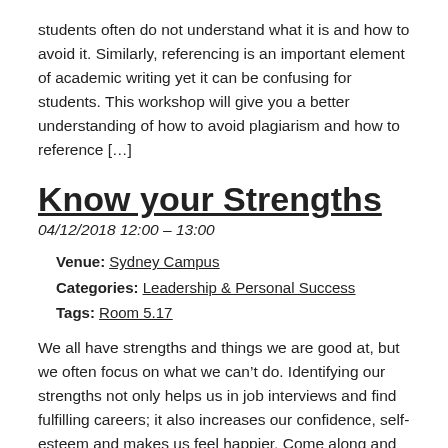students often do not understand what it is and how to avoid it. Similarly, referencing is an important element of academic writing yet it can be confusing for students. This workshop will give you a better understanding of how to avoid plagiarism and how to reference […]
Know your Strengths
04/12/2018 12:00 – 13:00
Venue: Sydney Campus
Categories: Leadership & Personal Success
Tags: Room 5.17
We all have strengths and things we are good at, but we often focus on what we can’t do. Identifying our strengths not only helps us in job interviews and find fulfilling careers; it also increases our confidence, self-esteem and makes us feel happier. Come along and discover your strengths and find out what you […]